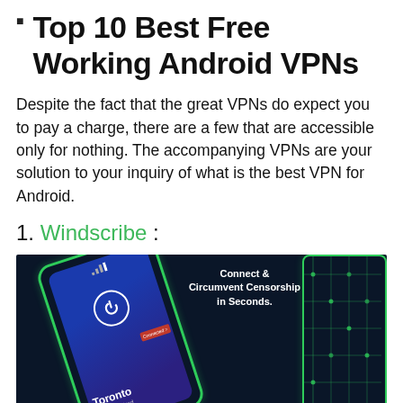Top 10 Best Free Working Android VPNs
Despite the fact that the great VPNs do expect you to pay a charge, there are a few that are accessible only for nothing. The accompanying VPNs are your solution to your inquiry of what is the best VPN for Android.
1. Windscribe :
[Figure (photo): Windscribe VPN app promotional image showing a glowing green-outlined smartphone with the app interface displaying 'Toronto - The Rob Ford' connection, with text overlay 'Connect & Circumvent Censorship in Seconds.' on a dark navy background with circuit board design elements on the right.]